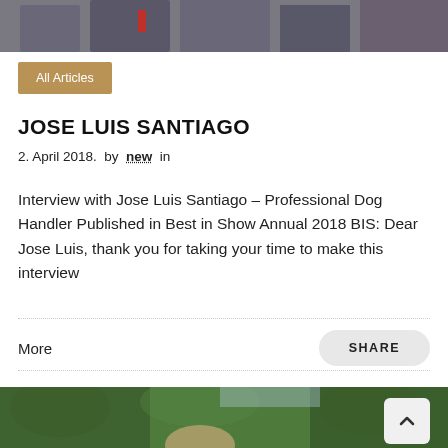[Figure (photo): Top portion of a group photo showing people in formal attire, partially cropped]
All Articles
JOSE LUIS SANTIAGO
2. April 2018.  by  new  in
Interview with Jose Luis Santiago – Professional Dog Handler Published in Best in Show Annual 2018 BIS: Dear Jose Luis, thank you for taking your time to make this interview
More
SHARE
[Figure (photo): Bottom portion showing a woman with long hair in front of tall green hedges/trees outdoors]